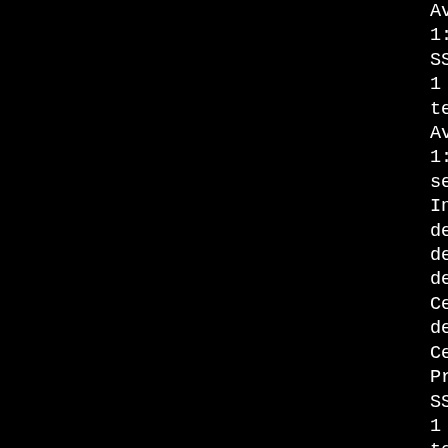Available compression meth
1: zlib compression
SSLv3, cipher TLSv1/SSLv3
1 handshakes of 256 bytes
test sslv3 with server aut
Available compression meth
1: zlib compression
server authentication
Initial proxy rights = B
depth=3 /C=AU/O=Dodgy Bro
depth=2 /C=AU/O=Dodgy Bro
depth=1 /C=AU/O=Dodgy Bro
Certificate proxy rights =
depth=0 /C=AU/O=Dodgy Bro
Certificate proxy rights =
Proxy rights check with co
SSLv3, cipher TLSv1/SSLv3
1 handshakes of 256 bytes
test sslv3 with client aut
Available compression meth
1: zlib compression
client authentication
Initial proxy rights = B
depth=3 /C=AU/O=Dodgy Bro